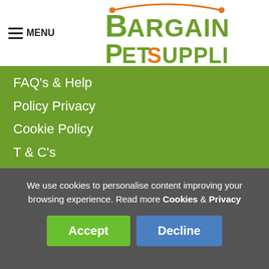MENU — Bargain Pet Supplies
FAQ's & Help
Policy Privacy
Cookie Policy
T & C's
Contact
WHAT WE DO
Pet Supplies Discounts
New Offers & Deals
Top Pet Brands
We use cookies to personalise content improving your browsing experience. Read more Cookies & Privacy
Accept  Decline